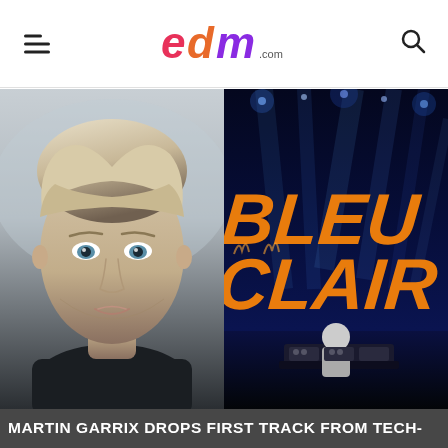edm.com
[Figure (photo): Close-up portrait photo of Martin Garrix, a young man with light brown hair and blue eyes, against a soft blurred background]
[Figure (photo): Concert stage photo showing a DJ performing under blue stage lights with orange graffiti-style text reading 'Bleu Clair' on a large screen backdrop]
MARTIN GARRIX DROPS FIRST TRACK FROM TECH-